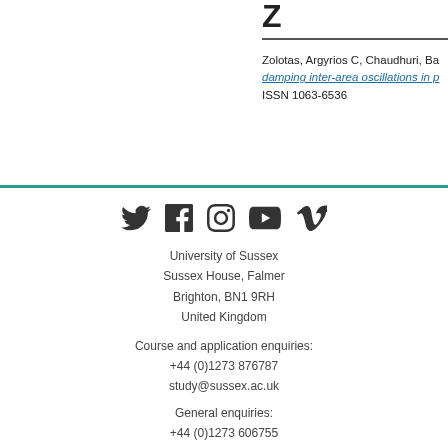Z
Zolotas, Argyrios C, Chaudhuri, Ba damping inter-area oscillations in p
ISSN 1063-6536
[Figure (other): Social media icons: Twitter, Facebook, Instagram, YouTube, Vimeo]
University of Sussex
Sussex House, Falmer
Brighton, BN1 9RH
United Kingdom
Course and application enquiries:
+44 (0)1273 876787
study@sussex.ac.uk
General enquiries:
+44 (0)1273 606755
information@sussex.ac.uk